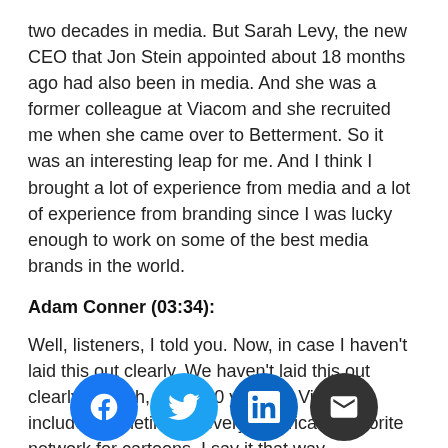two decades in media. But Sarah Levy, the new CEO that Jon Stein appointed about 18 months ago had also been in media. And she was a former colleague at Viacom and she recruited me when she came over to Betterment. So it was an interesting leap for me. And I think I brought a lot of experience from media and a lot of experience from branding since I was lucky enough to work on some of the best media brands in the world.
Adam Conner (03:34):
Well, listeners, I told you. Now, in case I haven't laid this out clearly. We haven't laid this out clearly enough, those 20 years at Viacom included sometime at every American's favorite network for cartoons. I say it that way. Nickelodeon, of course. So you talk about media, and such a passionate crew because they are immediately and [text continues below fold]
[Figure (infographic): Social share buttons row: Facebook (blue circle with f icon), Twitter (light blue circle with bird icon), LinkedIn (blue circle with in icon), Email (dark grey circle with envelope icon)]